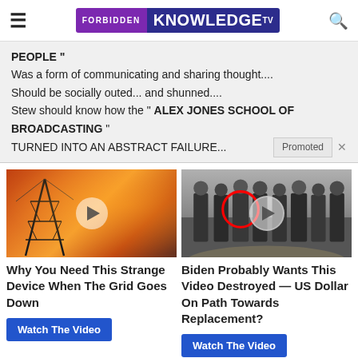FORBIDDEN KNOWLEDGE TV
PEOPLE "
Was a form of communicating and sharing thought....
Should be socially outed... and shunned....
Stew should know how the " ALEX JONES SCHOOL OF BROADCASTING "
TURNED INTO AN ABSTRACT FAILURE...
[Figure (screenshot): Video thumbnail showing power transmission tower against orange fire sky with play button overlay]
Why You Need This Strange Device When The Grid Goes Down
Watch The Video
[Figure (screenshot): Video thumbnail showing group of suited men standing with CIA logo floor, red circle highlighting one person, play button overlay]
Biden Probably Wants This Video Destroyed — US Dollar On Path Towards Replacement?
Watch The Video